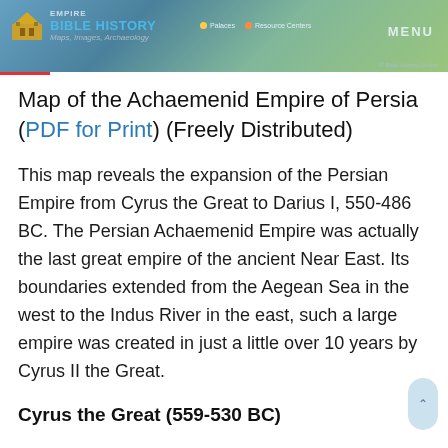[Figure (screenshot): Bible History website header with logo, 'BIBLE HISTORY Maps, Images, Archaeology' branding, map legend showing Palaces and Resource Centers, MENU button, and copyright notice. Background shows a partial map of the Achaemenid Empire.]
Map of the Achaemenid Empire of Persia (PDF for Print) (Freely Distributed)
This map reveals the expansion of the Persian Empire from Cyrus the Great to Darius I, 550-486 BC. The Persian Achaemenid Empire was actually the last great empire of the ancient Near East. Its boundaries extended from the Aegean Sea in the west to the Indus River in the east, such a large empire was created in just a little over 10 years by Cyrus II the Great.
Cyrus the Great (559-530 BC)